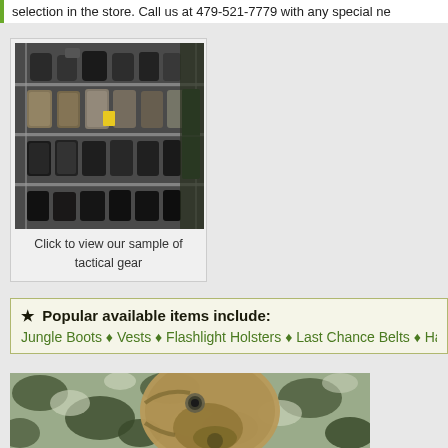selection in the store. Call us at 479-521-7779 with any special ne
[Figure (photo): Store shelves with tactical gear, boots, and military equipment in bags on metal wire shelving]
Click to view our sample of tactical gear
★ Popular available items include: Jungle Boots ♦ Vests ♦ Flashlight Holsters ♦ Last Chance Belts ♦ Hand
[Figure (photo): Gas mask with tan/olive fabric hood on camouflage background (green, grey, white camo pattern)]